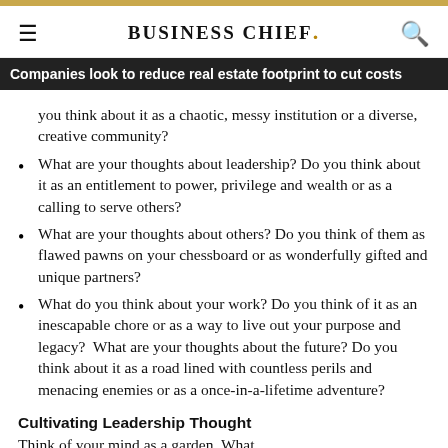BUSINESS CHIEF.
Companies look to reduce real estate footprint to cut costs
you think about it as a chaotic, messy institution or a diverse, creative community?
What are your thoughts about leadership? Do you think about it as an entitlement to power, privilege and wealth or as a calling to serve others?
What are your thoughts about others? Do you think of them as flawed pawns on your chessboard or as wonderfully gifted and unique partners?
What do you think about your work? Do you think of it as an inescapable chore or as a way to live out your purpose and legacy?  What are your thoughts about the future? Do you think about it as a road lined with countless perils and menacing enemies or as a once-in-a-lifetime adventure?
Cultivating Leadership Thought
Think of your mind as a garden. What...